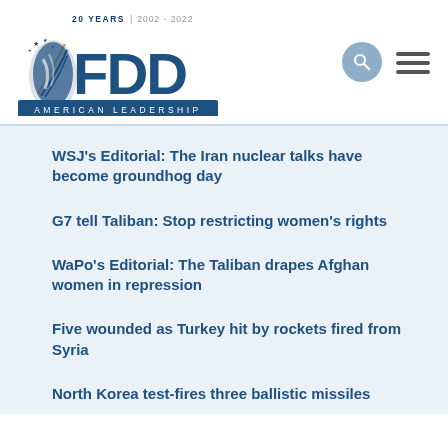[Figure (logo): FDD (Foundation for Defense of Democracies) logo with '20 YEARS | 2002 - 2022' text and 'AMERICAN LEADERSHIP' banner]
WSJ’s Editorial: The Iran nuclear talks have become groundhog day
G7 tell Taliban: Stop restricting women's rights
WaPo’s Editorial: The Taliban drapes Afghan women in repression
Five wounded as Turkey hit by rockets fired from Syria
North Korea test-fires three ballistic missiles